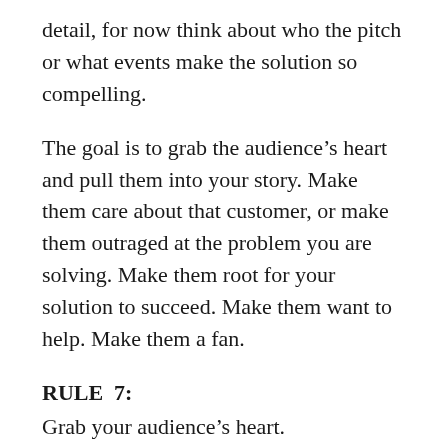detail, for now think about who the pitch or what events make the solution so compelling.
The goal is to grab the audience’s heart and pull them into your story. Make them care about that customer, or make them outraged at the problem you are solving. Make them root for your solution to succeed. Make them want to help. Make them a fan.
RULE  7:
Grab your audience’s heart.
This isn’t an easy thing to do. It is easy to write down the facts of your business, but facts, figures, trends, and statistics do not sway